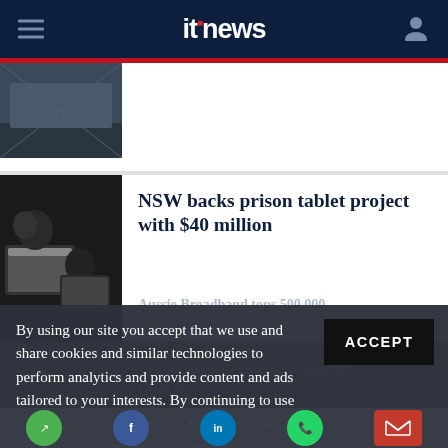itnews
[Figure (photo): Partial article thumbnail at top, partially visible]
[Figure (photo): People using tablets/iPads, black and white or dark toned photo]
NSW backs prison tablet project with $40 million
Aussie Broadband tops 500,000
Aus gov agencies struggle to allocate cloud costs.
By using our site you accept that we use and share cookies and similar technologies to perform analytics and provide content and ads tailored to your interests. By continuing to use our site, you consent to this. Please see our Cookie Policy for more information.